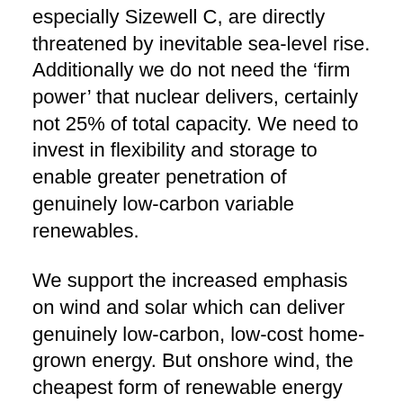especially Sizewell C, are directly threatened by inevitable sea-level rise. Additionally we do not need the 'firm power' that nuclear delivers, certainly not 25% of total capacity. We need to invest in flexibility and storage to enable greater penetration of genuinely low-carbon variable renewables.
We support the increased emphasis on wind and solar which can deliver genuinely low-carbon, low-cost home-grown energy. But onshore wind, the cheapest form of renewable energy needs more support and enabling than a limited number of communities being bribed to accept it. Planning blocks in England must be removed and community energy must be enabled by extending and expanding the successful Rural Community Energy Fund into a National Community Energy Fund to enable communities to take advantage of decarbonisation and renewable energy